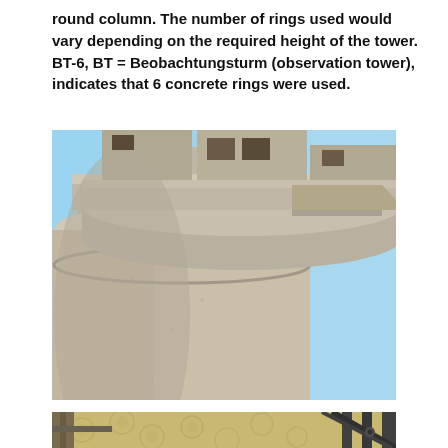round column.  The number of rings used would vary depending on the required height of the tower.  BT-6, BT = Beobachtungsturm (observation tower), indicates that 6 concrete rings were used.
[Figure (photo): Close-up low-angle photograph looking up at the top of a concrete observation tower (BT-6), showing the round concrete column and stacked concrete rings forming the observation platform, against a blue sky background.]
[Figure (photo): Partial photograph showing structural elements including metal railings/bars and a textured wall surface, likely the base or interior of the observation tower structure.]